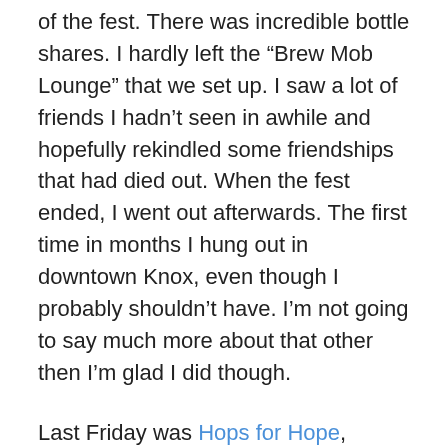of the fest. There was incredible bottle shares. I hardly left the “Brew Mob Lounge” that we set up. I saw a lot of friends I hadn’t seen in awhile and hopefully rekindled some friendships that had died out. When the fest ended, I went out afterwards. The first time in months I hung out in downtown Knox, even though I probably shouldn’t have. I’m not going to say much more about that other then I’m glad I did though.
Last Friday was Hops for Hope, another small intimate beer festival. This one took place at The Lily Barn in Townsend, TN. It was a fund raiser for The New Hope Advocacy Center. I volunteered and set up my Randal full of hops and strawberries and ran Lagunitas Pale Ale through it. Many of my beer industry friends were in attendance. The whole event was fun, but sometimes it’s all about the after party. A row of cabins was reserved for